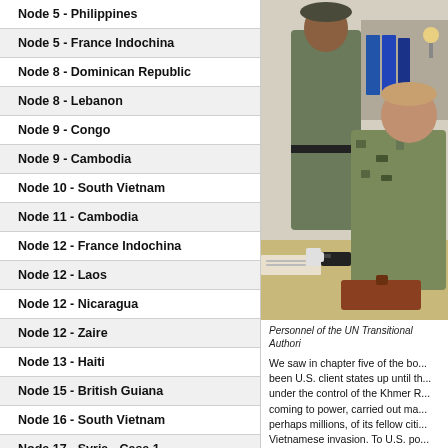Node 5 - Philippines
Node 5 - France Indochina
Node 8 - Dominican Republic
Node 8 - Lebanon
Node 9 - Congo
Node 9 - Cambodia
Node 10 - South Vietnam
Node 11 - Cambodia
Node 12 - France Indochina
Node 12 - Laos
Node 12 - Nicaragua
Node 12 - Zaire
Node 13 - Haiti
Node 15 - British Guiana
Node 16 - South Vietnam
Node 17 - Syria - Case 1
Node 17 - Iran
Node 17 - Syria - Case 2
Node 17 - Ghana
[Figure (photo): Two military/UN personnel in an office setting; one standing in uniform with beret, one seated in camouflage uniform at a desk with binders and documents.]
Personnel of the UN Transitional Authori...
We saw in chapter five of the bo... been U.S. client states up until th... under the control of the Khmer R... coming to power, carried out ma... perhaps millions, of its fellow citi... Vietnamese invasion. To U.S. po... not only had the regime in Hano... but it had recently signed a frien... bitterly opposed by China, with w... ...ould Soviet li...